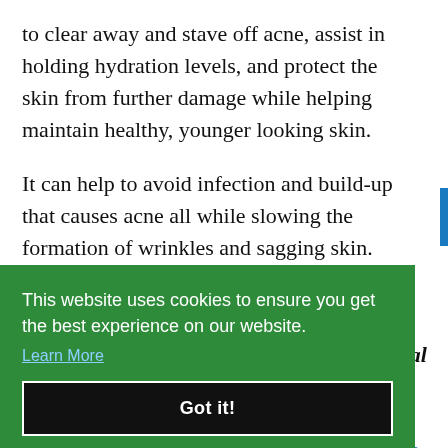to clear away and stave off acne, assist in holding hydration levels, and protect the skin from further damage while helping maintain healthy, younger looking skin.
It can help to avoid infection and build-up that causes acne all while slowing the formation of wrinkles and sagging skin.
[Figure (screenshot): Cookie consent overlay on a green background with message 'This website uses cookies to ensure you get the best experience on our website.' with a 'Learn More' link and a black 'Got it!' button.]
Information about natural living tips, natural